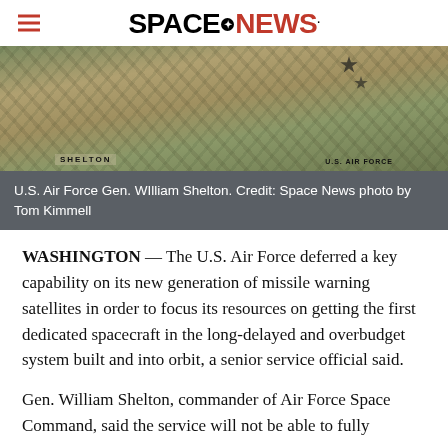SPACENEWS
[Figure (photo): Close-up photo of U.S. Air Force Gen. William Shelton in military uniform showing name tag and U.S. Air Force insignia]
U.S. Air Force Gen. WIlliam Shelton. Credit: Space News photo by Tom Kimmell
WASHINGTON — The U.S. Air Force deferred a key capability on its new generation of missile warning satellites in order to focus its resources on getting the first dedicated spacecraft in the long-delayed and overbudget system built and into orbit, a senior service official said.
Gen. William Shelton, commander of Air Force Space Command, said the service will not be able to fully